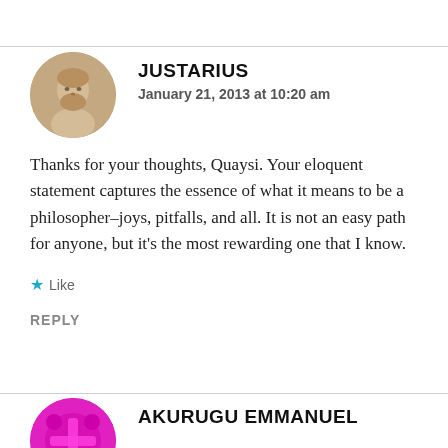JUSTARIUS
January 21, 2013 at 10:20 am
Thanks for your thoughts, Quaysi. Your eloquent statement captures the essence of what it means to be a philosopher–joys, pitfalls, and all. It is not an easy path for anyone, but it's the most rewarding one that I know.
Like
REPLY
AKURUGU EMMANUEL